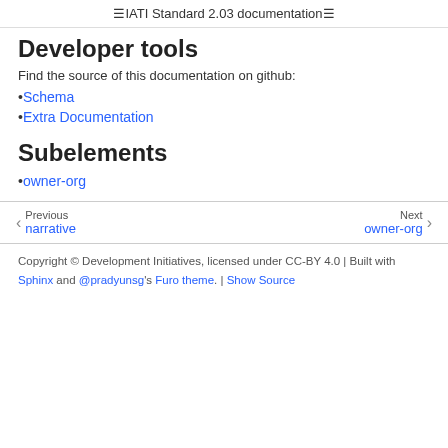IATI Standard 2.03 documentation
Developer tools
Find the source of this documentation on github:
Schema
Extra Documentation
Subelements
owner-org
Previous narrative  Next owner-org
Copyright © Development Initiatives, licensed under CC-BY 4.0 | Built with Sphinx and @pradyunsg's Furo theme. | Show Source